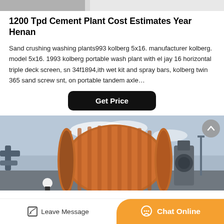[Figure (photo): Partial view of industrial machinery at top of page, gray tones]
1200 Tpd Cement Plant Cost Estimates Year Henan
Sand crushing washing plants993 kolberg 5x16. manufacturer kolberg. model 5x16. 1993 kolberg portable wash plant with el jay 16 horizontal triple deck screen, sn 34f1894,ith wet kit and spray bars, kolberg twin 365 sand screw snt, on portable tandem axle…
[Figure (other): Black rounded rectangle button with white bold text: Get Price]
[Figure (photo): Industrial cement plant machinery photo — large orange/brown ball mill with worker in hard hat, outdoor industrial setting with blue sky]
[Figure (other): Bottom bar with Leave Message icon-button on left and orange Chat Online button on right]